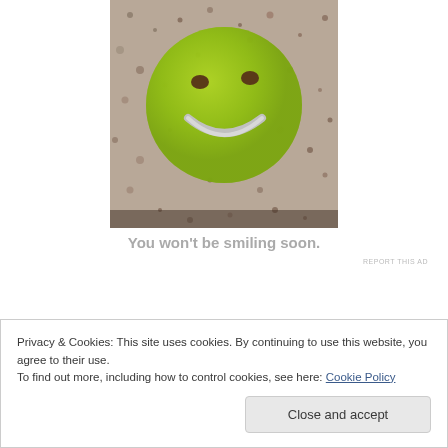[Figure (photo): Close-up photo of a smiley face made from green sparkly material embedded in a stone/granite surface, with brown dot eyes and a silvery metallic smile]
You won't be smiling soon.
REPORT THIS AD
Privacy & Cookies: This site uses cookies. By continuing to use this website, you agree to their use.
To find out more, including how to control cookies, see here: Cookie Policy
Close and accept